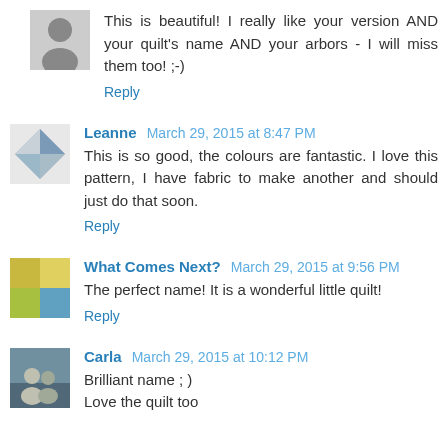This is beautiful! I really like your version AND your quilt's name AND your arbors - I will miss them too! ;-)
Reply
Leanne March 29, 2015 at 8:47 PM
This is so good, the colours are fantastic. I love this pattern, I have fabric to make another and should just do that soon.
Reply
What Comes Next? March 29, 2015 at 9:56 PM
The perfect name! It is a wonderful little quilt!
Reply
Carla March 29, 2015 at 10:12 PM
Brilliant name ; )
Love the quilt too